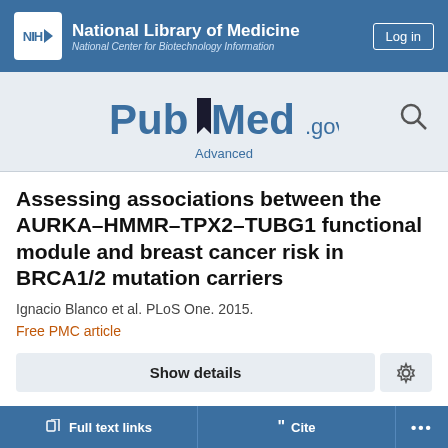NIH — National Library of Medicine, National Center for Biotechnology Information
[Figure (logo): PubMed.gov logo with search icon]
Assessing associations between the AURKA-HMMR-TPX2-TUBG1 functional module and breast cancer risk in BRCA1/2 mutation carriers
Ignacio Blanco et al. PLoS One. 2015.
Free PMC article
Show details
Full text links
Cite